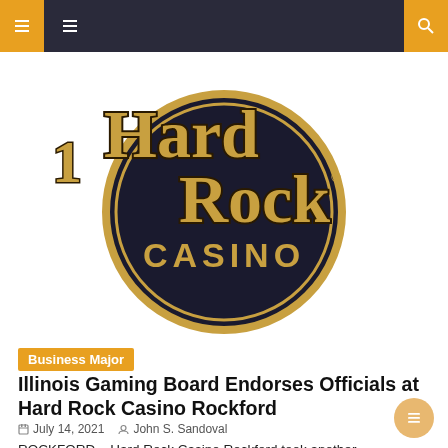Navigation bar with menu and search icons
[Figure (logo): Hard Rock Casino logo — golden 'Hard Rock' text arching over a dark blue/purple circle with gold ring and 'CASINO' text inside]
Business Major
Illinois Gaming Board Endorses Officials at Hard Rock Casino Rockford
July 14, 2021   John S. Sandoval
ROCKFORD – Hard Rock Casino Rockford took another important step set to become a reality on Wednesday as